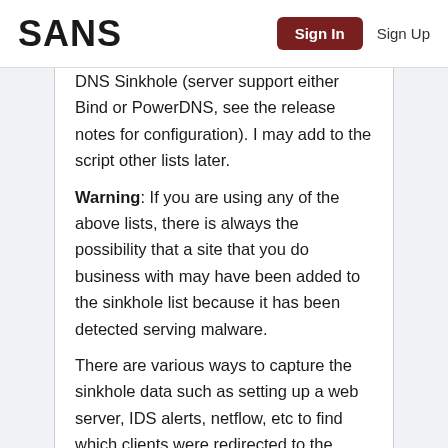SANS | Sign In | Sign Up
DNS Sinkhole (server support either Bind or PowerDNS, see the release notes for configuration). I may add to the script other lists later.
Warning: If you are using any of the above lists, there is always the possibility that a site that you do business with may have been added to the sinkhole list because it has been detected serving malware.
There are various ways to capture the sinkhole data such as setting up a web server, IDS alerts, netflow, etc to find which clients were redirected to the sinkhole for signs of system compromise.